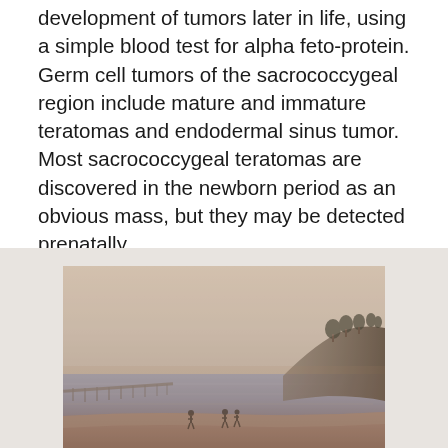development of tumors later in life, using a simple blood test for alpha feto-protein. Germ cell tumors of the sacrococcygeal region include mature and immature teratomas and endodermal sinus tumor. Most sacrococcygeal teratomas are discovered in the newborn period as an obvious mass, but they may be detected prenatally.
[Figure (photo): A misty beach scene with people standing near the water's edge, a pier extending into the sea on the left, and a cliff with trees visible on the right. The image has a warm, hazy, vintage tone.]